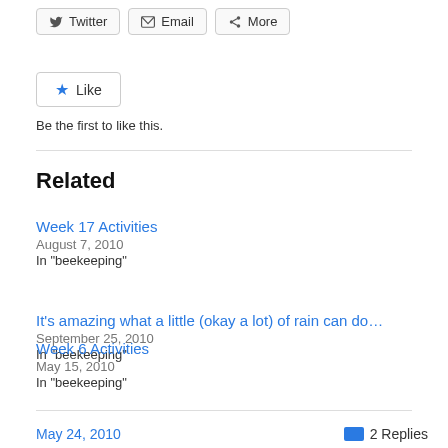Twitter
Email
More
[Figure (other): Like button with star icon]
Be the first to like this.
Related
Week 17 Activities
August 7, 2010
In "beekeeping"
It’s amazing what a little (okay a lot) of rain can do…
September 25, 2010
In "beekeeping"
Week 6 Activities
May 15, 2010
In "beekeeping"
May 24, 2010
2 Replies